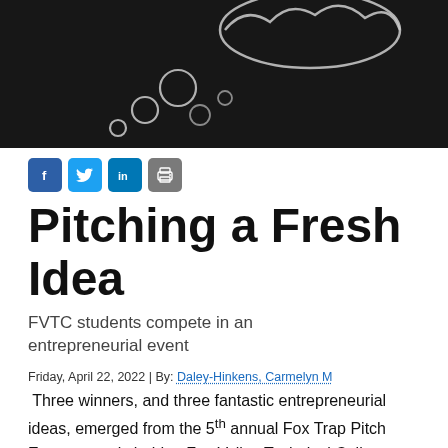[Figure (photo): Dark chalkboard background with chalk-drawn thought bubbles (circles) in the upper portion of the page.]
[Figure (infographic): Social sharing buttons row: Facebook (f), Twitter (bird), LinkedIn (in), Print (printer icon)]
Pitching a Fresh Idea
FVTC students compete in an entrepreneurial event
Friday, April 22, 2022 | By: Daley-Hinkens, Carmelyn M
Three winners, and three fantastic entrepreneurial ideas, emerged from the 5th annual Fox Trap Pitch Event recently held at Fox Valley Technical College.